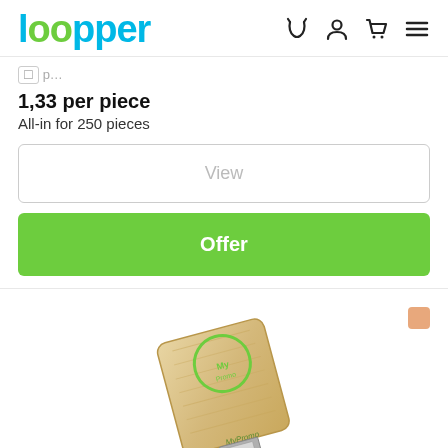Loopper
1,33 per piece
All-in for 250 pieces
View
Offer
[Figure (photo): Wooden USB flash drive with MyPromo logo in green, rectangular shape with slide mechanism]